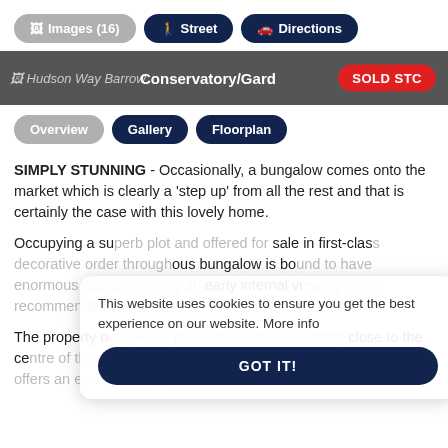[Figure (screenshot): Navigation buttons row: Images (16) in gray pill, Street in dark navy pill, Directions in dark navy pill]
[Figure (photo): Property image strip showing Hudson Way Barrow with Conservatory/Garden text and SOLD STC red badge]
[Figure (screenshot): Tab navigation: Overview (gray pill), Gallery (dark navy pill), Floorplan (dark navy pill)]
SIMPLY STUNNING - Occasionally, a bungalow comes onto the market which is clearly a 'step up' from all the rest and that is certainly the case with this lovely home.
Occupying a superb plot and offered for sale in first-class decorative order throughout, this bungalow is bound to have enormous appeal, making an early internal viewing highly recommended.
The property occupies a pleasant cul de sac setting close to the centre of the popular and well-served village of Barrow. Barrow offers an excellent range
This website uses cookies to ensure you get the best experience on our website. More info GOT IT!